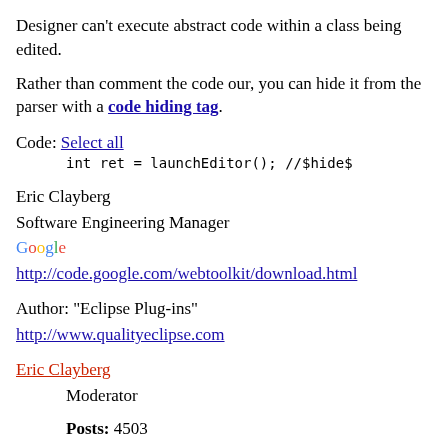Designer can't execute abstract code within a class being edited.
Rather than comment the code our, you can hide it from the parser with a code hiding tag.
Code: Select all
    int ret = launchEditor(); //$hide$
Eric Clayberg
Software Engineering Manager
Google
http://code.google.com/webtoolkit/download.html
Author: "Eclipse Plug-ins"
http://www.qualityeclipse.com
Eric Clayberg
Moderator
Posts: 4503
Joined: Tue Sep 30, 2003 6:39 am
Location: Boston, MA USA
Website